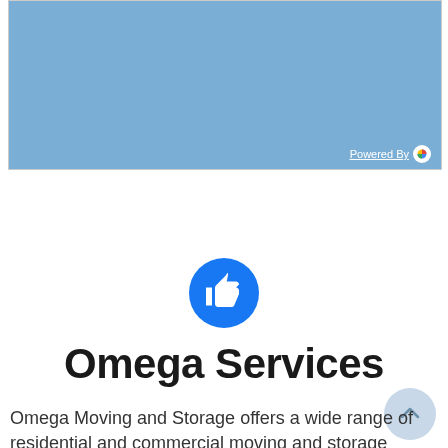[Figure (screenshot): A blue map area (Google Maps embedded widget) with a 'Powered By' label and Google icon in the bottom-right corner.]
[Figure (illustration): Facebook-style blue circle with a white thumbs-up like icon in the center.]
Omega Services
Omega Moving and Storage offers a wide range of residential and commercial moving and storage services